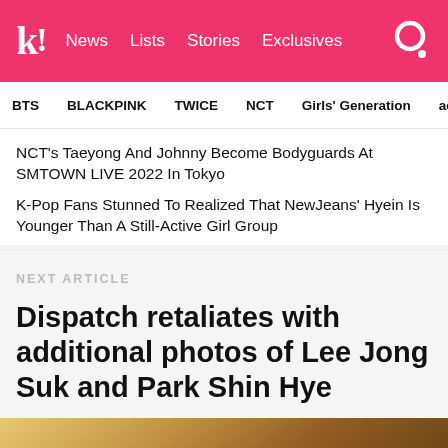k! News Lists Stories Exclusives
BTS BLACKPINK TWICE NCT Girls' Generation aespa
NCT's Taeyong And Johnny Become Bodyguards At SMTOWN LIVE 2022 In Tokyo
K-Pop Fans Stunned To Realized That NewJeans' Hyein Is Younger Than A Still-Active Girl Group
NEXT ARTICLE
Dispatch retaliates with additional photos of Lee Jong Suk and Park Shin Hye
[Figure (photo): Bottom portion of a photo, partially visible, showing warm golden-toned outdoor scene]